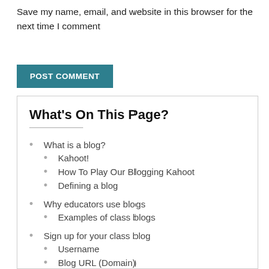Save my name, email, and website in this browser for the next time I comment
POST COMMENT
What's On This Page?
What is a blog?
Kahoot!
How To Play Our Blogging Kahoot
Defining a blog
Why educators use blogs
Examples of class blogs
Sign up for your class blog
Username
Blog URL (Domain)
Blog Title
Blog Privacy